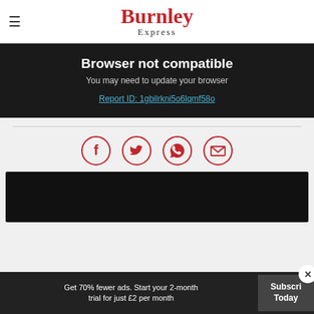[Figure (logo): Burnley Express newspaper logo with hamburger menu icon]
Browser not compatible
You may need to update your browser
Report ID: 1gbilrkni5o6lqmf58o
[Figure (infographic): Social sharing icons: Facebook, Twitter, WhatsApp, Email — red circle outlines]
[Figure (other): Dark video/media area placeholder]
Get 70% fewer ads. Start your 2-month trial for just £2 per month
Subscribe Today